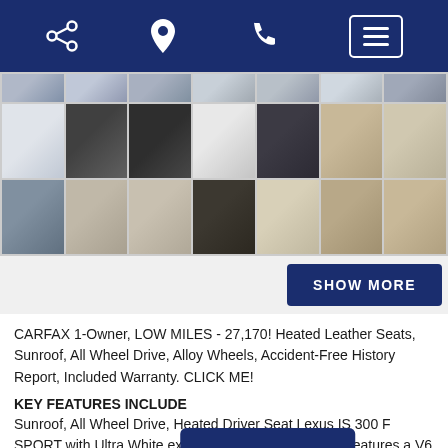Navigation bar with share, location, phone, and menu icons
[Figure (photo): Grid of car photos showing exterior and interior views of a Lexus IS 300 F SPORT in Ultra White. Rows show: top partial row, row 1 with white car exterior, alloy wheel, engine bay, sunroof, dashboard, front seats, rear seats; row 2 with more interior shots including seats and rear bench.]
SHOW MORE
CARFAX 1-Owner, LOW MILES - 27,170! Heated Leather Seats, Sunroof, All Wheel Drive, Alloy Wheels, Accident-Free History Report, Included Warranty. CLICK ME!
KEY FEATURES INCLUDE
Sunroof, All Wheel Drive, Heated Driver Seat Lexus IS 300 F SPORT with Ultra White exterior and Chateau interior features a V6 Cylinder Engine with 260 HP a
OPTION PACKAGES
F SPORT PACKAGE Side & Rear F SPORT Badging, LFA Ins
[Figure (other): Contact Us overlay button in dark navy blue]